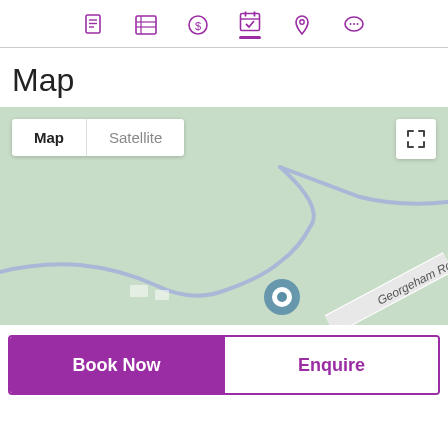Navigation bar with icons: document, list, payment, calendar (active), location, chat
Map
[Figure (map): Google Maps style map view showing a green area with a road labeled 'Georgeham Rd' and a blue location marker pin. Includes Map/Satellite toggle buttons and a fullscreen button.]
Book Now
Enquire